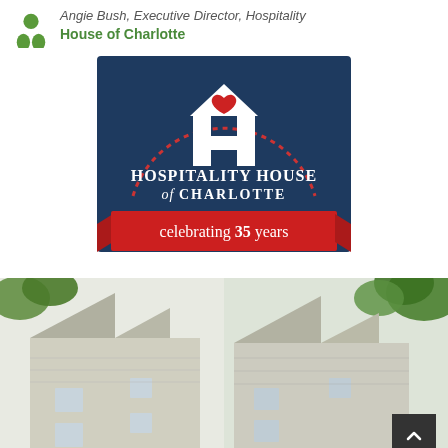Angie Bush, Executive Director, Hospitality House of Charlotte
[Figure (logo): Hospitality House of Charlotte logo on dark navy blue square background. White house/H icon with red heart at top, dotted arc above. Text reads 'HOSPITALITY HOUSE of CHARLOTTE'. Red ribbon banner at bottom reads 'celebrating 35 years'.]
[Figure (photo): Two side-by-side photos of Hospitality House of Charlotte building exterior, showing white/gray siding townhouse-style buildings with peaked roofs and green trees.]